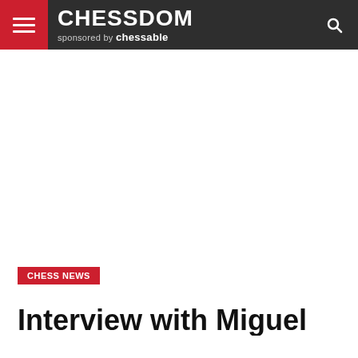CHESSDOM sponsored by chessable
CHESS NEWS
Interview with Miguel